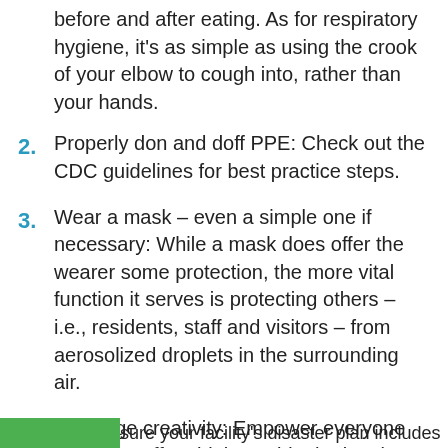before and after eating. As for respiratory hygiene, it's as simple as using the crook of your elbow to cough into, rather than your hands.
2. Properly don and doff PPE: Check out the CDC guidelines for best practice steps.
3. Wear a mask – even a simple one if necessary: While a mask does offer the wearer some protection, the more vital function it serves is protecting others – i.e., residents, staff and visitors – from aerosolized droplets in the surrounding air.
4. Leverage creativity: Empower everyone on your staff to think outside the box in order to devise practical and useful ways to protect residents and staff.
sure your facility's disaster plan includes